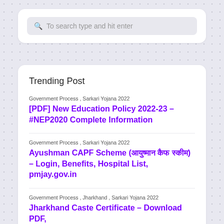To search type and hit enter
Trending Post
Government Process , Sarkari Yojana 2022
[PDF] New Education Policy 2022-23 – #NEP2020 Complete Information
Government Process , Sarkari Yojana 2022
Ayushman CAPF Scheme (आयुष्मान कैफ स्कीम) – Login, Benefits, Hospital List, pmjay.gov.in
Government Process , Jharkhand , Sarkari Yojana 2022
Jharkhand Caste Certificate – Download PDF,